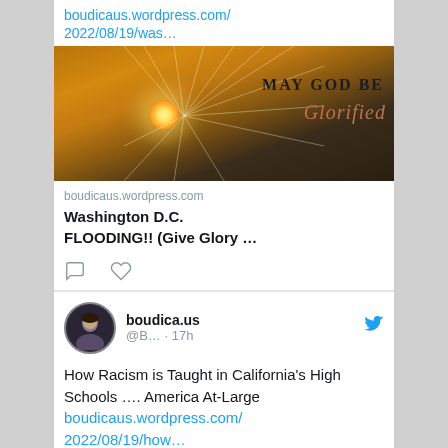boudicaus.wordpress.com/2022/08/19/was…
[Figure (photo): Image showing dramatic sunset sky with sunbeams through clouds and text 'MAY GOD BE Glorified']
boudicaus.wordpress.com
Washington D.C. FLOODING!! (Give Glory …
[Figure (other): Comment and like/heart action icons]
boudica.us @B… · 17h
How Racism is Taught in California's High Schools …. America At-Large
boudicaus.wordpress.com/2022/08/19/how…